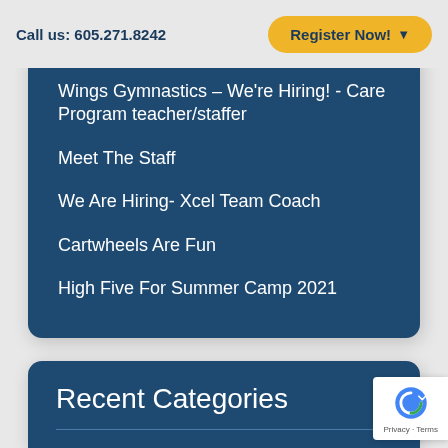Call us: 605.271.8242
Register Now!
Wings Gymnastics – We're Hiring! - Care Program teacher/staffer
Meet The Staff
We Are Hiring- Xcel Team Coach
Cartwheels Are Fun
High Five For Summer Camp 2021
Recent Categories